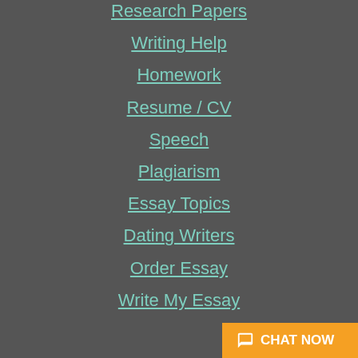Research Papers
Writing Help
Homework
Resume / CV
Speech
Plagiarism
Essay Topics
Dating Writers
Order Essay
Write My Essay
CHAT NOW